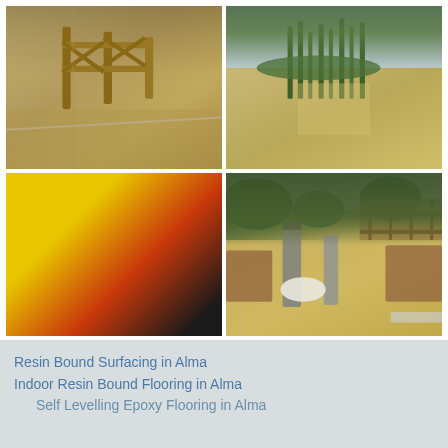[Figure (photo): Gravel resin bound surface path with wooden post and rail fence in background]
[Figure (photo): Resin bound gravel garden path with tall green plants and shrubs]
[Figure (photo): Colorful playground surface with yellow, blue, red areas and road markings; play equipment in background]
[Figure (photo): Garden with resin bound gravel path, stone pillars, raised planting beds and wooden fencing]
Resin Bound Surfacing in Alma
Indoor Resin Bound Flooring in Alma
Self Levelling Epoxy Flooring in Alma